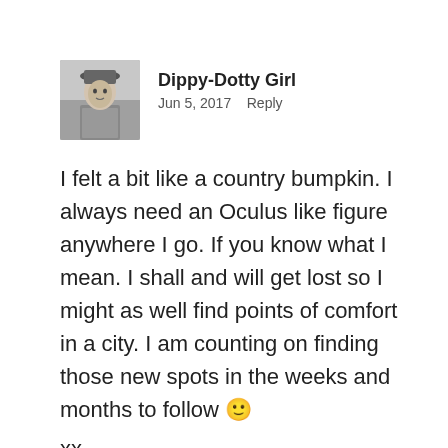[Figure (photo): Black and white profile photo of a young girl wearing a hat]
Dippy-Dotty Girl
Jun 5, 2017   Reply
I felt a bit like a country bumpkin. I always need an Oculus like figure anywhere I go. If you know what I mean. I shall and will get lost so I might as well find points of comfort in a city. I am counting on finding those new spots in the weeks and months to follow 🙂
xx
★ Like